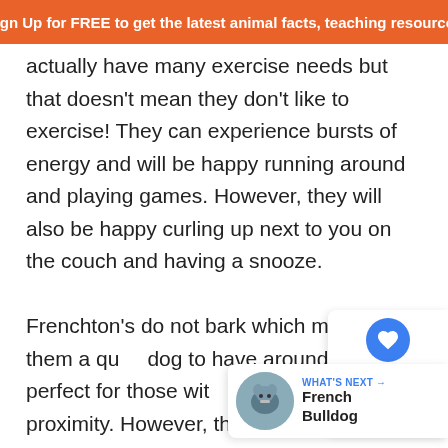Sign Up for FREE to get the latest animal facts, teaching resources
actually have many exercise needs but that doesn't mean they don't like to exercise! They can experience bursts of energy and will be happy running around and playing games. However, they will also be happy curling up next to you on the couch and having a snooze.

Frenchton's do not bark which makes them a quiet dog to have around. This is perfect for those with neighbors in close proximity. However, they do snore — so be careful!